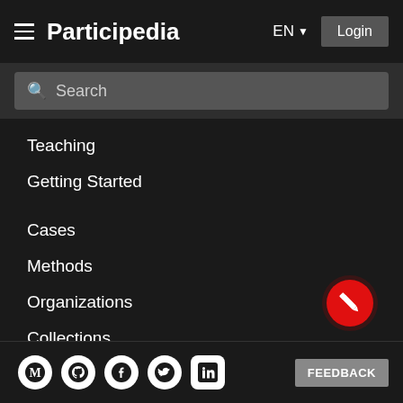Participedia EN Login
Search
Teaching
Getting Started
Cases
Methods
Organizations
Collections
About
News
Help & Contact
Terms of Use
[Figure (infographic): Red circular FAB button with pencil/edit icon]
Social icons: Medium, GitHub, Facebook, Twitter, LinkedIn | FEEDBACK button